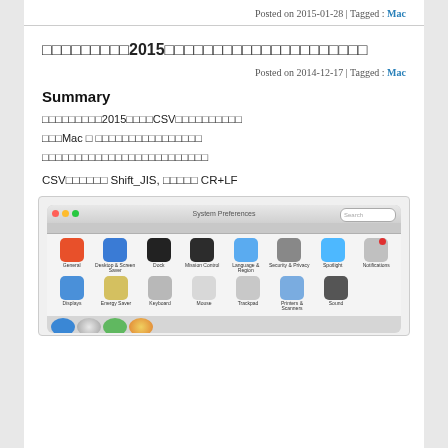Posted on 2015-01-28 | Tagged : Mac
□□□□□□□□□2015□□□□□□□□□□□□□□□□□□□□□
Posted on 2014-12-17 | Tagged : Mac
Summary
□□□□□□□□□2015□□□□CSV□□□□□□□□□□
□□□Mac □ □□□□□□□□□□□□□□□□
□□□□□□□□□□□□□□□□□□□□□□□□□
CSV□□□□□□ Shift_JIS, □□□□□ CR+LF
[Figure (screenshot): Mac OS X System Preferences window showing icons for General, Desktop & Screen Saver, Dock, Mission Control, Language & Region, Security & Privacy, Spotlight, Notifications, Displays, Energy Saver, Keyboard, Mouse, Trackpad, Printers & Scanners, Sound, and bottom row icons for internet/browser applications.]